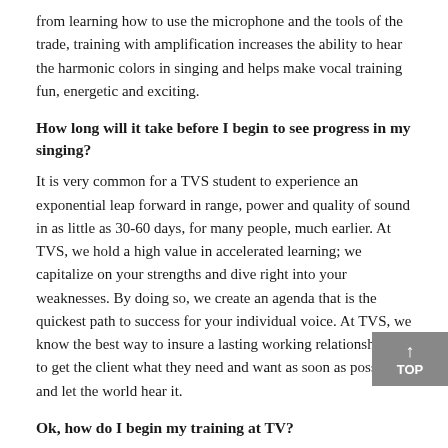from learning how to use the microphone and the tools of the trade, training with amplification increases the ability to hear the harmonic colors in singing and helps make vocal training fun, energetic and exciting.
How long will it take before I begin to see progress in my singing?
It is very common for a TVS student to experience an exponential leap forward in range, power and quality of sound in as little as 30-60 days, for many people, much earlier. At TVS, we hold a high value in accelerated learning; we capitalize on your strengths and dive right into your weaknesses. By doing so, we create an agenda that is the quickest path to success for your individual voice. At TVS, we know the best way to insure a lasting working relationship, is to get the client what they need and want as soon as possible and let the world hear it.
Ok, how do I begin my training at TV?
We recommend that you start by investing in a copy of "The Pillars of Singing" (The New Student Package) and immedia... consuming the content and start training! For students in the...